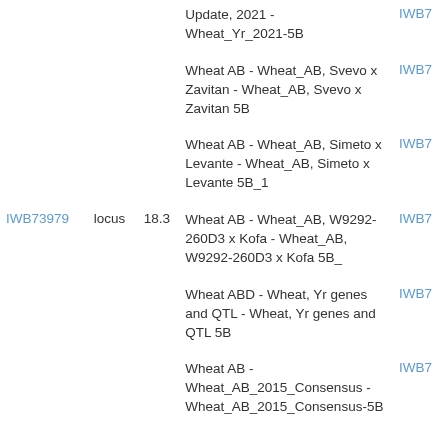| Marker | Type | Position | Map Name | Link |
| --- | --- | --- | --- | --- |
|  |  |  | Update, 2021 - Wheat_Yr_2021-5B | IWB7... |
|  |  |  | Wheat AB - Wheat_AB, Svevo x Zavitan - Wheat_AB, Svevo x Zavitan 5B | IWB7... |
|  |  |  | Wheat AB - Wheat_AB, Simeto x Levante - Wheat_AB, Simeto x Levante 5B_1 | IWB7... |
| IWB73979 | locus | 18.3 | Wheat AB - Wheat_AB, W9292-260D3 x Kofa - Wheat_AB, W9292-260D3 x Kofa 5B_ | IWB7... |
|  |  |  | Wheat ABD - Wheat, Yr genes and QTL - Wheat, Yr genes and QTL 5B | IWB7... |
|  |  |  | Wheat AB - Wheat_AB_2015_Consensus - Wheat_AB_2015_Consensus-5B | IWB7... |